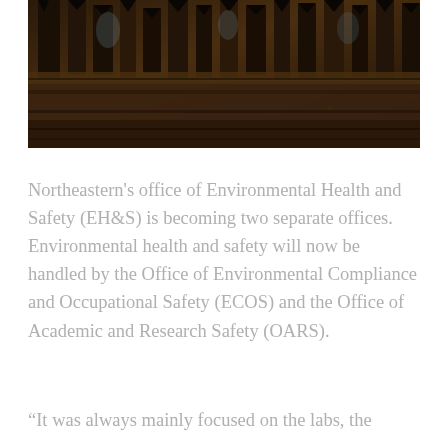[Figure (photo): A close-up photograph of what appears to be industrial or mechanical equipment — dark metallic gears, levers, or machinery parts — with blurred figures of people visible in the background.]
Northeastern's office of Environmental Health and Safety (EH&S) is becoming two separate offices. Environmental health and safety will now be handled by the Office of Environmental Compliance and Occupational Safety (ECOS) and the Office of Academic and Research Safety (OARS).
“It was always mainly focused on the labs, the